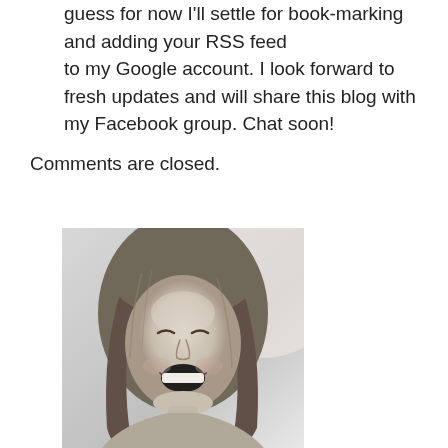guess for now I'll settle for book-marking and adding your RSS feed to my Google account. I look forward to fresh updates and will share this blog with my Facebook group. Chat soon!
Comments are closed.
[Figure (photo): Black and white portrait photo of a smiling young woman with long straight hair, laughing with mouth open, wearing a necklace, photographed against a light background.]